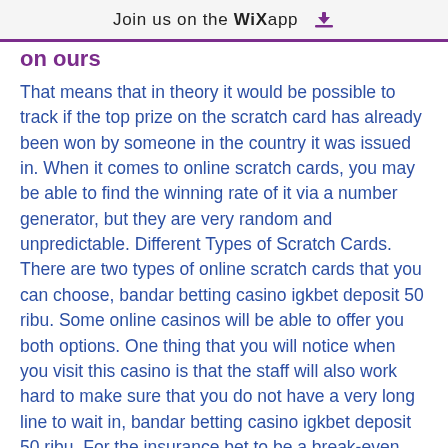Join us on the WiX app ⬇
on ours
That means that in theory it would be possible to track if the top prize on the scratch card has already been won by someone in the country it was issued in. When it comes to online scratch cards, you may be able to find the winning rate of it via a number generator, but they are very random and unpredictable. Different Types of Scratch Cards. There are two types of online scratch cards that you can choose, bandar betting casino igkbet deposit 50 ribu. Some online casinos will be able to offer you both options. One thing that you will notice when you visit this casino is that the staff will also work hard to make sure that you do not have a very long line to wait in, bandar betting casino igkbet deposit 50 ribu. For the insurance bet to be a break-even bet, the